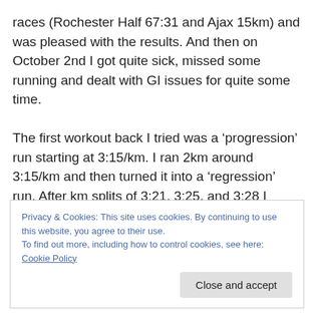races (Rochester Half 67:31 and Ajax 15km) and was pleased with the results. And then on October 2nd I got quite sick, missed some running and dealt with GI issues for quite some time.

The first workout back I tried was a 'progression' run starting at 3:15/km. I ran 2km around 3:15/km and then turned it into a 'regression' run. After km splits of 3:21, 3:25, and 3:28 I called it quits after 5km. I was struggling hard and realized my GI issues were affecting me more than I thought. This was 2 weeks to the day before STWM
Privacy & Cookies: This site uses cookies. By continuing to use this website, you agree to their use.
To find out more, including how to control cookies, see here: Cookie Policy